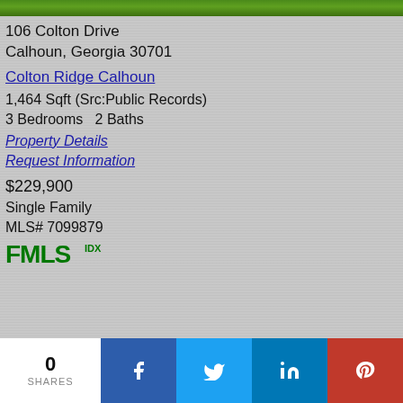[Figure (photo): Green grass at top of page, narrow strip]
106 Colton Drive
Calhoun, Georgia 30701
Colton Ridge Calhoun
1,464 Sqft (Src:Public Records)
3 Bedrooms   2 Baths
Property Details
Request Information
$229,900
Single Family
MLS# 7099879
[Figure (logo): FMLS IDX logo]
0
SHARES